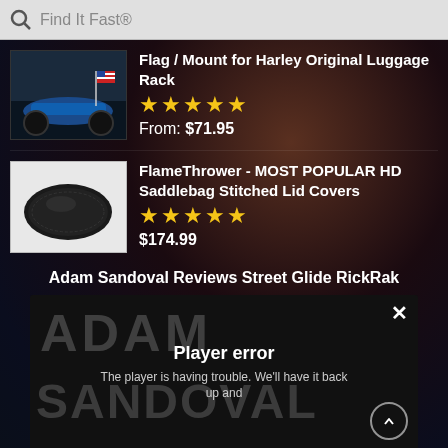[Figure (screenshot): Search bar with magnifying glass icon and 'Find It Fast®' placeholder text]
Flag / Mount for Harley Original Luggage Rack
★★★★★
From: $71.95
FlameThrower - MOST POPULAR HD Saddlebag Stitched Lid Covers
★★★★★
$174.99
Adam Sandoval Reviews Street Glide RickRak
[Figure (screenshot): Video player showing Adam Sandoval text in background with Player error message and close button]